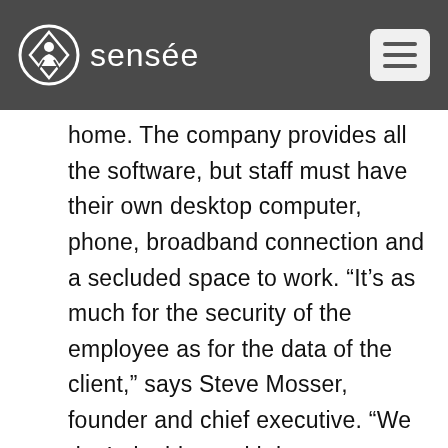sensée
home. The company provides all the software, but staff must have their own desktop computer, phone, broadband connection and a secluded space to work. “It’s as much for the security of the employee as for the data of the client,” says Steve Mosser, founder and chief executive. “We don’t do things with laptops, as Wi-Fi networks aren’t secure – and we have a health and safety responsibility to the people we employ, which is limited to the vicinity of their work stations.” Read the article